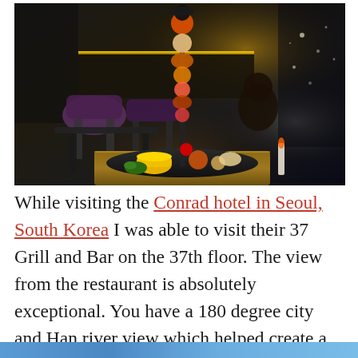[Figure (photo): Interior of 37 Grill and Bar restaurant at Conrad Hotel Seoul. Dark, moody atmosphere with purple/dark chairs, wooden tables, yellow accent lighting behind bar area. In the foreground is a tall skewer/tower of colorful appetizers or desserts on a black tray, with a yellow bowl, on a wooden surface. City lights visible through windows in background.]
While visiting the Conrad hotel in Seoul, South Korea I was able to visit their 37 Grill and Bar on the 37th floor. The view from the restaurant is absolutely exceptional. You have a 180 degree city and Han river view which helped create a wonderful evening.